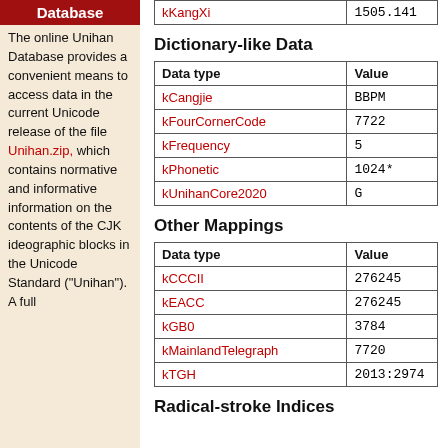Database
The online Unihan Database provides a convenient means to access data in the current Unicode release of the file Unihan.zip, which contains normative and informative information on the contents of the CJK ideographic blocks in the Unicode Standard ("Unihan"). A full
| Data type | Value |
| --- | --- |
| kKangXi | 1505.141 |
Dictionary-like Data
| Data type | Value |
| --- | --- |
| kCangjie | BBPM |
| kFourCornerCode | 7722 |
| kFrequency | 5 |
| kPhonetic | 1024* |
| kUnihanCore2020 | G |
Other Mappings
| Data type | Value |
| --- | --- |
| kCCCII | 276245 |
| kEACC | 276245 |
| kGB0 | 3784 |
| kMainlandTelegraph | 7720 |
| kTGH | 2013:2974 |
Radical-stroke Indices